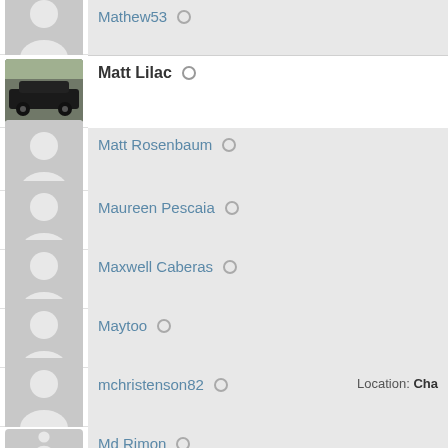Mathew53
Matt Lilac
Matt Rosenbaum
Maureen Pescaia
Maxwell Caberas
Maytoo
mchristenson82  Location: Cha
Md Rimon